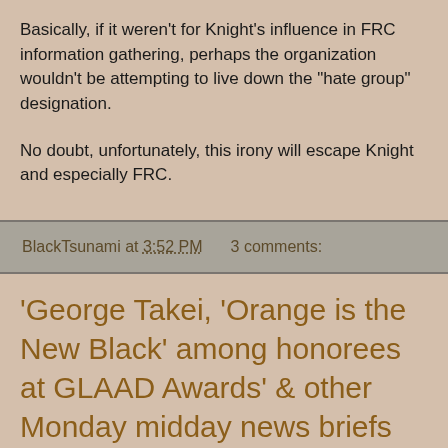Basically, if it weren't for Knight's influence in FRC information gathering, perhaps the organization wouldn't be attempting to live down the "hate group" designation.
No doubt, unfortunately, this irony will escape Knight and especially FRC.
BlackTsunami at 3:52 PM   3 comments:
'George Takei, 'Orange is the New Black' among honorees at GLAAD Awards' & other Monday midday news briefs